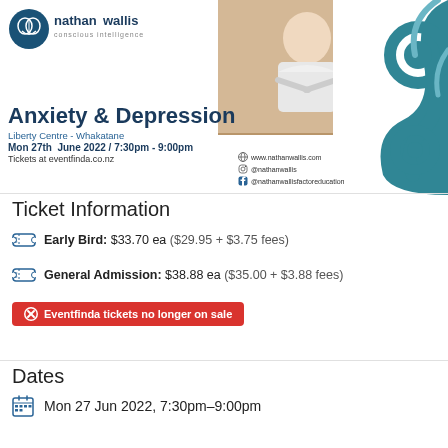[Figure (logo): Nathan Wallis Conscious Intelligence logo with brain icon]
[Figure (photo): Photo of Nathan Wallis smiling, seated at a desk with arms crossed]
[Figure (illustration): Teal Maori koru/swirl pattern decorative element]
Anxiety & Depression
Liberty Centre - Whakatane
Mon 27th June 2022 / 7:30pm - 9:00pm
Tickets at eventfinda.co.nz
www.nathanwallis.com
@nathanwallis
@nathanwallisfactoreducation
Ticket Information
Early Bird: $33.70 ea ($29.95 + $3.75 fees)
General Admission: $38.88 ea ($35.00 + $3.88 fees)
Eventfinda tickets no longer on sale
Dates
Mon 27 Jun 2022, 7:30pm–9:00pm